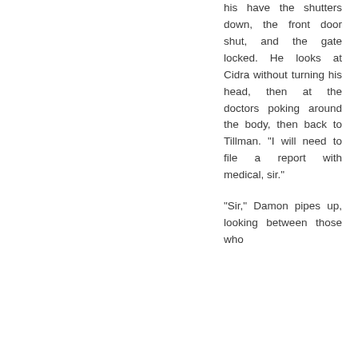his have the shutters down, the front door shut, and the gate locked. He looks at Cidra without turning his head, then at the doctors poking around the body, then back to Tillman. "I will need to file a report with medical, sir."
"Sir," Damon pipes up, looking between those who